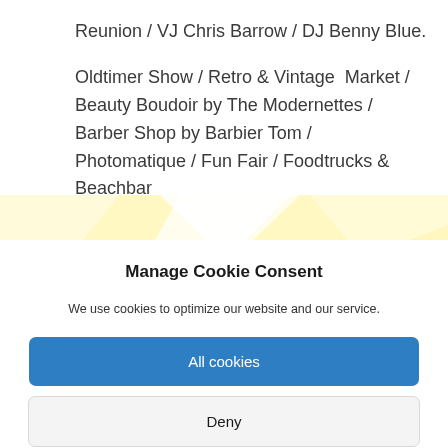Reunion / VJ Chris Barrow / DJ Benny Blue.
Oldtimer Show / Retro & Vintage Market / Beauty Boudoir by The Modernettes / Barber Shop by Barbier Tom / Photomatique / Fun Fair / Foodtrucks & Beachbar
[Figure (illustration): Decorative yellow and white diagonal ribbon/banner graphic stripe]
Manage Cookie Consent
We use cookies to optimize our website and our service.
All cookies
Deny